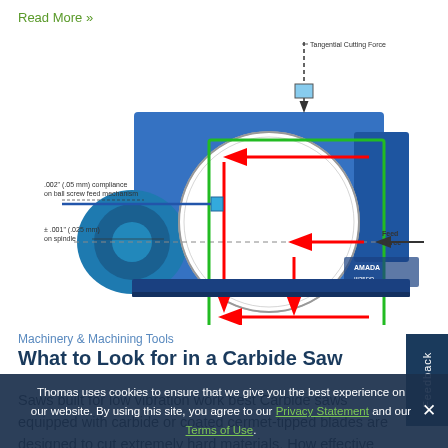Read More »
[Figure (engineering-diagram): Technical diagram of a carbide circular saw machine (Amada III35DP) showing tangential cutting force arrow at top, feed force arrow at right, .002 inch (.05 mm) compliance on ball screw feed mechanism label at left, ±.001 inch (.025 mm) on spindle label at left, green rectangle highlighting the cutting zone, red arrows indicating force directions around the blade.]
Machinery & Machining Tools
What to Look for in a Carbide Saw
Saws built for low vibration work best Carbide saws equipped with carbide or coated cermet-tipped blades are designed to cut extremely hard materials. How effective
Thomas uses cookies to ensure that we give you the best experience on our website. By using this site, you agree to our Privacy Statement and our Terms of Use.